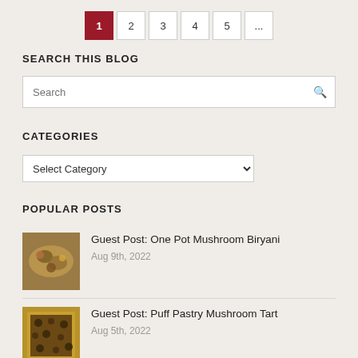Pagination: 1 2 3 4 5 ...
SEARCH THIS BLOG
Search
CATEGORIES
Select Category
POPULAR POSTS
Guest Post: One Pot Mushroom Biryani
Aug 9th, 2022
Guest Post: Puff Pastry Mushroom Tart
Aug 5th, 2022